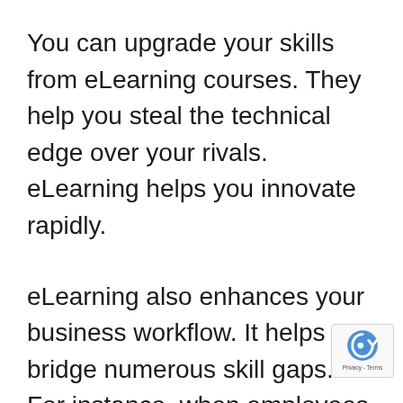You can upgrade your skills from eLearning courses. They help you steal the technical edge over your rivals. eLearning helps you innovate rapidly.
eLearning also enhances your business workflow. It helps bridge numerous skill gaps. For instance, when employees complete an eLearning course, they're trained on using a specific technology or internal process that leads to quality execution of business activities.